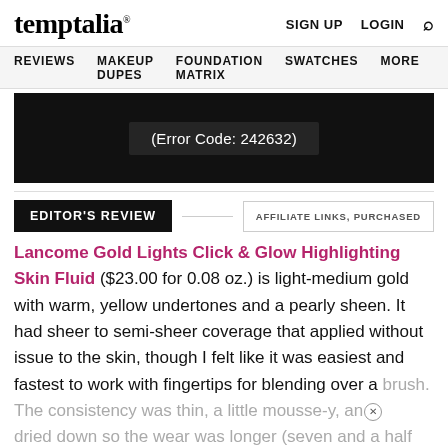temptalia® | SIGN UP  LOGIN  🔍
REVIEWS  MAKEUP DUPES  FOUNDATION MATRIX  SWATCHES  MORE
[Figure (screenshot): Black video player area showing error message: (Error Code: 242632)]
EDITOR'S REVIEW
AFFILIATE LINKS, PURCHASED
Lancome Gold Lights Click & Glow Highlighting Skin Fluid ($23.00 for 0.08 oz.) is light-medium gold with warm, yellow undertones and a pearly sheen. It had sheer to semi-sheer coverage that applied without issue to the skin, though I felt like it was easiest and fastest to work with fingertips for blending over a brush. The consistency was thin, a little mousse-y, and dried down so the wear was longer (seven and a half